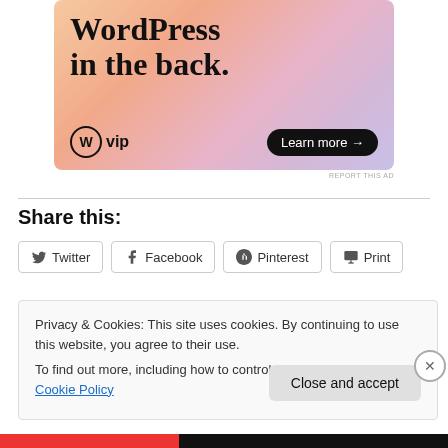[Figure (illustration): WordPress VIP advertisement banner with colorful gradient background showing 'WordPress in the back.' text and a 'Learn more →' button]
REPORT THIS AD
Share this:
Twitter  Facebook  Pinterest  Print
Privacy & Cookies: This site uses cookies. By continuing to use this website, you agree to their use.
To find out more, including how to control cookies, see here: Cookie Policy
Close and accept